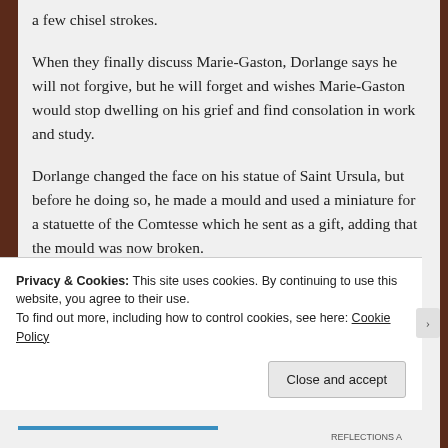a few chisel strokes.
When they finally discuss Marie-Gaston, Dorlange says he will not forgive, but he will forget and wishes Marie-Gaston would stop dwelling on his grief and find consolation in work and study.
Dorlange changed the face on his statue of Saint Ursula, but before he doing so, he made a mould and used a miniature for a statuette of the Comtesse which he sent as a gift, adding that the mould was now broken.
Privacy & Cookies: This site uses cookies. By continuing to use this website, you agree to their use.
To find out more, including how to control cookies, see here: Cookie Policy